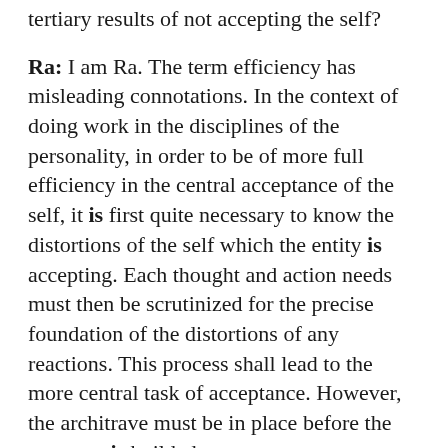tertiary results of not accepting the self?
Ra: I am Ra. The term efficiency has misleading connotations. In the context of doing work in the disciplines of the personality, in order to be of more full efficiency in the central acceptance of the self, it is first quite necessary to know the distortions of the self which the entity is accepting. Each thought and action needs must then be scrutinized for the precise foundation of the distortions of any reactions. This process shall lead to the more central task of acceptance. However, the architrave must be in place before the structure is builded.
59.21 Questioner: Is the pyramid shape that Jim has constructed in our yard functioning properly? Is it aligned properly and built properly?
Ra: I am Ra. It is built within good tolerances though not perfect. However, its alignment should